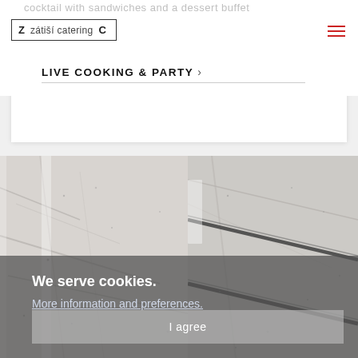cocktail with sandwiches and a dessert buffet
Z  zátiší catering  C
LIVE COOKING & PARTY >
[Figure (photo): Two side-by-side photos showing marble or stone textured surfaces with metal/glass structural elements, in grayscale tones]
We serve cookies. More information and preferences. I agree